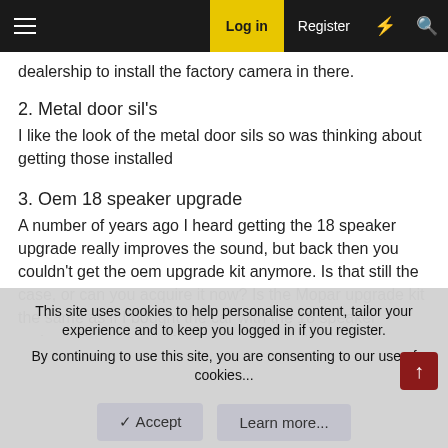Log in  Register
2. Metal door sil's
I like the look of the metal door sils so was thinking about getting those installed
3. Oem 18 speaker upgrade
A number of years ago I heard getting the 18 speaker upgrade really improves the sound, but back then you couldn't get the oem upgrade kit anymore. Is that still the case, or can you acquire it now? Is the Mopar upgrade kit the same as if I bought the car with the 18 speaker option? (I'm not sure if there was things like Harman Kardon logos
This site uses cookies to help personalise content, tailor your experience and to keep you logged in if you register.
By continuing to use this site, you are consenting to our use of cookies...